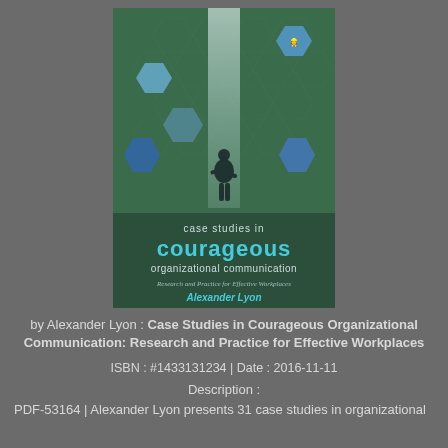[Figure (illustration): Book cover of 'Case Studies in Courageous Organizational Communication: Research and Practice for Effective Workplaces' by Alexander Lyon. Features a silhouette of a person standing before a glowing doorway surrounded by hexagonal photo insets of workplace scenes on a green textured background.]
by Alexander Lyon : Case Studies in Courageous Organizational Communication: Research and Practice for Effective Workplaces
ISBN : #1433131234 | Date : 2016-11-11
Description :
PDF-53164 | Alexander Lyon presents 31 case studies in organizational